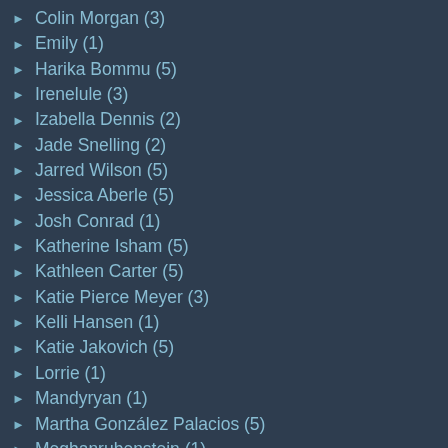Colin Morgan (3)
Emily (1)
Harika Bommu (5)
Irenelule (3)
Izabella Dennis (2)
Jade Snelling (2)
Jarred Wilson (5)
Jessica Aberle (5)
Josh Conrad (1)
Katherine Isham (5)
Kathleen Carter (5)
Katie Pierce Meyer (3)
Kelli Hansen (1)
Katie Jakovich (5)
Lorrie (1)
Mandyryan (1)
Martha González Palacios (5)
Meghanrubenstein (1)
Nathansheppard (1)
Stephanie Phillips (5)
Tim Kindseth (2)